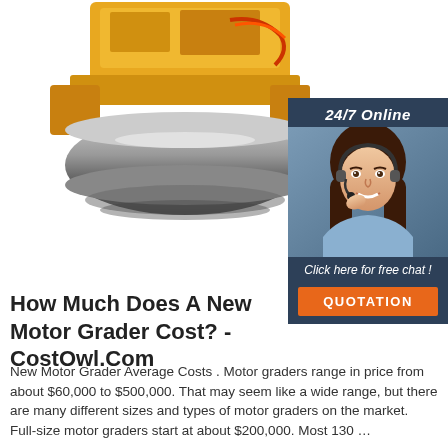[Figure (photo): Yellow road roller / compactor machine photographed from front-side angle on white background, showing the drum roller at the front and engine compartment on top]
[Figure (infographic): 24/7 online chat widget with dark blue background showing a smiling female customer service agent wearing a headset, with 'Click here for free chat!' text and orange QUOTATION button]
How Much Does A New Motor Grader Cost? - CostOwl.Com
New Motor Grader Average Costs . Motor graders range in price from about $60,000 to $500,000. That may seem like a wide range, but there are many different sizes and types of motor graders on the market. Full-size motor graders start at about $200,000. Most 130 …